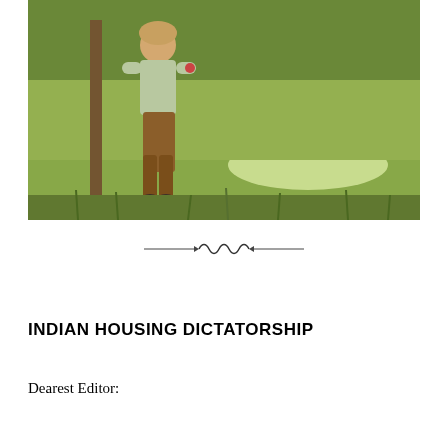[Figure (photo): A young child standing outdoors in a grassy area near a wooden post, wearing brown pants and a light-colored shirt, holding something in their hand. The background shows green grass and vegetation with dappled sunlight.]
[Figure (illustration): Decorative divider ornament with curved wave-like design flanked by horizontal lines]
INDIAN HOUSING DICTATORSHIP
Dearest Editor: